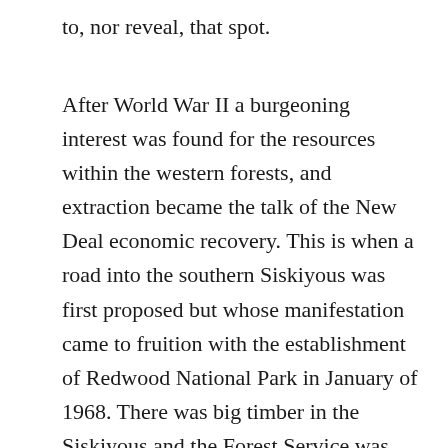to, nor reveal, that spot.
After World War II a burgeoning interest was found for the resources within the western forests, and extraction became the talk of the New Deal economic recovery. This is when a road into the southern Siskiyous was first proposed but whose manifestation came to fruition with the establishment of Redwood National Park in January of 1968. There was big timber in the Siskiyous and the Forest Service was ready to access it when the big redwoods became 'locked up' in the park.